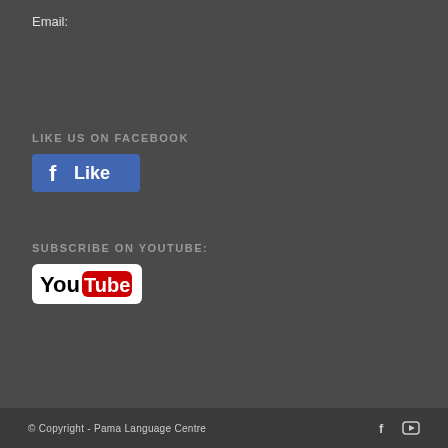Email:
LIKE US ON FACEBOOK
[Figure (logo): Facebook Like button with white 'f' icon on blue background and 'Like' text in white]
SUBSCRIBE ON YOUTUBE:
[Figure (logo): YouTube logo with 'You' in black text and 'Tube' in white text on red rounded rectangle background]
© Copyright - Pama Language Centre